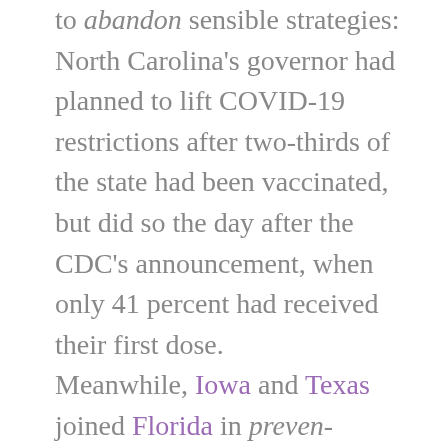to abandon sensible strategies: North Carolina's governor had planned to lift COVID-19 restrictions after two-thirds of the state had been vaccinated, but did so the day after the CDC's announcement, when only 41 percent had received their first dose. Meanwhile, Iowa and Texas joined Florida in preventing counties, schools, or local institutions from issuing mask mandates. Rather than ushering in an era of flexibility, the CDC has arguably triggered a chain of buck-passing, wherein responsibility for one's health is once again shunted all the way back to individuals. “Often, Let everyone decide for themselves is the